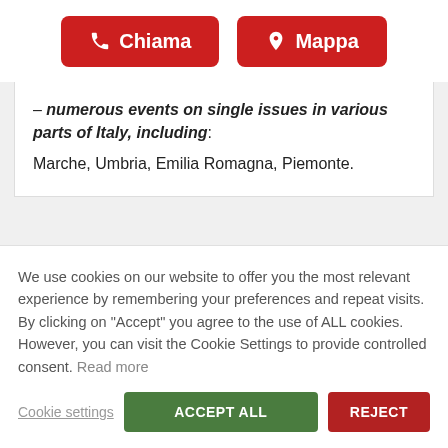[Figure (other): Two red buttons: 'Chiama' (phone icon) and 'Mappa' (location pin icon)]
– numerous events on single issues in various parts of Italy, including: Marche, Umbria, Emilia Romagna, Piemonte.
We use cookies on our website to offer you the most relevant experience by remembering your preferences and repeat visits. By clicking on "Accept" you agree to the use of ALL cookies. However, you can visit the Cookie Settings to provide controlled consent. Read more
Cookie settings   ACCEPT ALL   REJECT